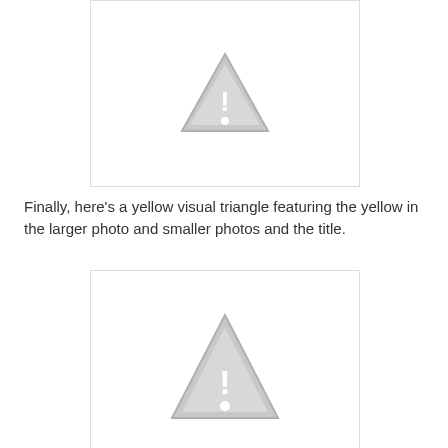[Figure (other): Image placeholder with a grey warning triangle icon (exclamation mark) centered in a white box with a light grey border. The image is partially cropped at the top.]
Finally, here's a yellow visual triangle featuring the yellow in the larger photo and smaller photos and the title.
[Figure (other): Image placeholder with a grey warning triangle icon (exclamation mark) centered in a white box with a light grey border. The image is partially cropped at the bottom.]